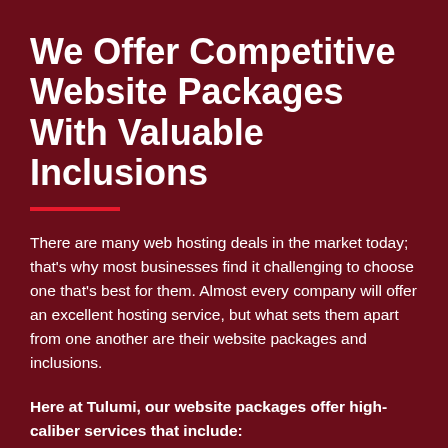We Offer Competitive Website Packages With Valuable Inclusions
There are many web hosting deals in the market today; that’s why most businesses find it challenging to choose one that’s best for them. Almost every company will offer an excellent hosting service, but what sets them apart from one another are their website packages and inclusions.
Here at Tulumi, our website packages offer high-caliber services that include: